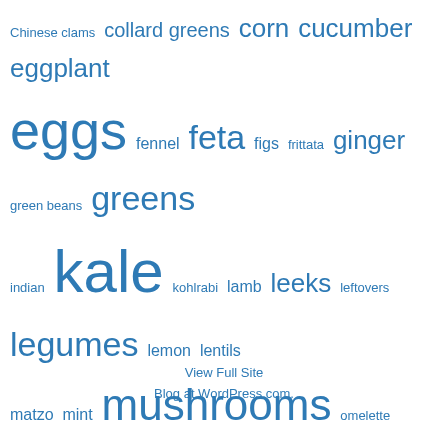[Figure (infographic): Tag cloud of food/ingredient terms in various font sizes rendered in blue/teal color. Largest terms include kale, mushrooms, pork, potatoes, ricotta, scallions, tomatoes, spicy, ramps, radishes, pasta, greens, eggs. Smaller terms include Chinese clams, collard greens, corn, cucumber, eggplant, fennel, feta, figs, frittata, ginger, green beans, indian, kohlrabi, lamb, leeks, leftovers, legumes, lemon, lentils, matzo, mint, omelette, pea shoots, pickled, quinoa, salmon, sausage, seafood, shiitake, shrimp, spinach, squash, stock, summer squash, sweet potatoes, tacos, tofu, turkey, yogurt, zuchinni.]
View Full Site
Blog at WordPress.com.